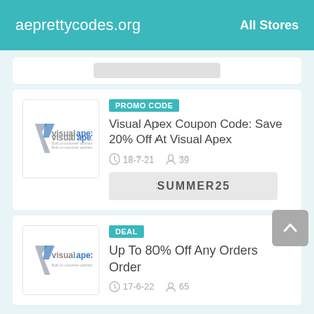aeprettycodes.org  All Stores
[Figure (other): Partial card with gray bar visible at top]
PROMO CODE
Visual Apex Coupon Code: Save 20% Off At Visual Apex
18-7-21   39
SUMMER25
DEAL
Up To 80% Off Any Orders Order
17-6-22   65